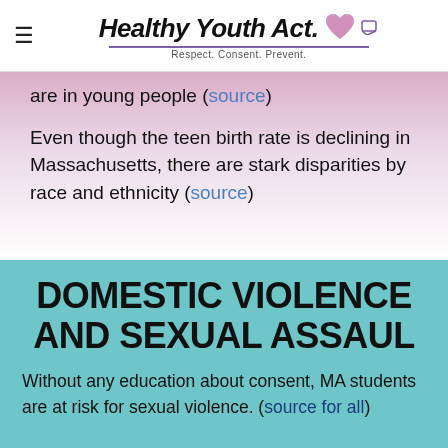Healthy Youth Act. Respect. Consent. Prevent.
are in young people (source)
Even though the teen birth rate is declining in Massachusetts, there are stark disparities by race and ethnicity (source)
DOMESTIC VIOLENCE AND SEXUAL ASSAUL
Without any education about consent, MA students are at risk for sexual violence. (source for all)
POWERED BY weebly